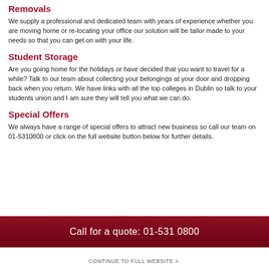Removals
We supply a professional and dedicated team with years of experience whether you are moving home or re-locating your office our solution will be tailor made to your needs so that you can get on with your life.
Student Storage
Are you going home for the holidays or have decided that you want to travel for a while? Talk to our team about collecting your belongings at your door and dropping back when you return. We have links with all the top colleges in Dublin so talk to your students union and I am sure they will tell you what we can do.
Special Offers
We always have a range of special offers to attract new business so call our team on 01-5310800 or click on the full website button below for further details.
Call for a quote: 01-531 0800
CONTINUE TO FULL WEBSITE >.